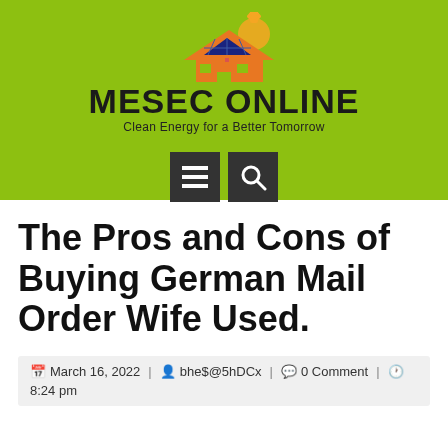[Figure (logo): MESEC ONLINE logo with solar panel house graphic, green background, site name in bold black, tagline 'Clean Energy for a Better Tomorrow', and two dark navigation icon buttons (menu and search)]
The Pros and Cons of Buying German Mail Order Wife Used.
March 16, 2022 | bhe$@5hDCx | 0 Comment | 8:24 pm